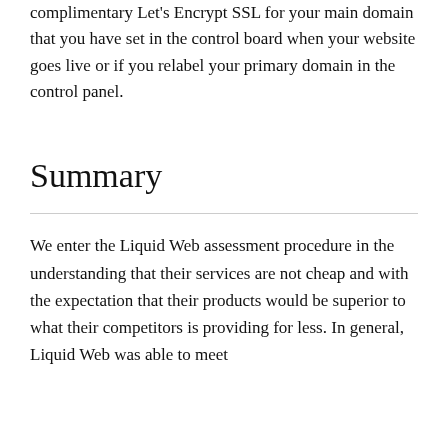complimentary Let's Encrypt SSL for your main domain that you have set in the control board when your website goes live or if you relabel your primary domain in the control panel.
Summary
We enter the Liquid Web assessment procedure in the understanding that their services are not cheap and with the expectation that their products would be superior to what their competitors is providing for less. In general, Liquid Web was able to meet